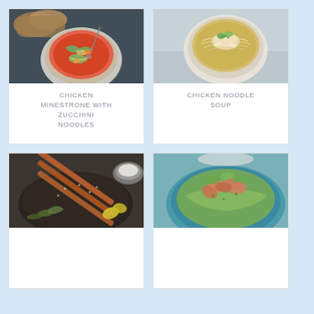[Figure (photo): Overhead view of a rustic bowl of chicken minestrone soup with zucchini noodles, herbs, and bread on a dark surface]
CHICKEN MINESTRONE WITH ZUCCHINI NOODLES
[Figure (photo): Overhead view of a bowl of chicken noodle soup with thin noodles and herbs on a light fabric]
CHICKEN NOODLE SOUP
[Figure (photo): Overhead view of grilled chicken skewers on a dark plate with herbs and lemon wedges]
[Figure (photo): Overhead view of a teal bowl with shrimp or chicken skewers on a bed of greens]